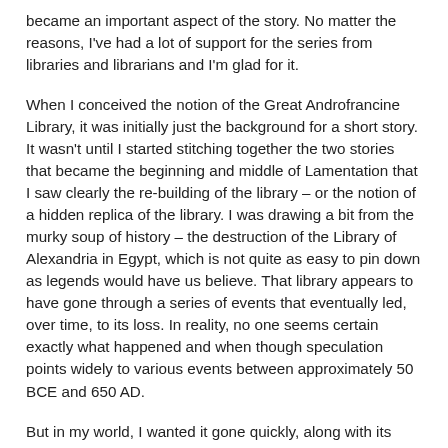became an important aspect of the story. No matter the reasons, I've had a lot of support for the series from libraries and librarians and I'm glad for it.
When I conceived the notion of the Great Androfrancine Library, it was initially just the background for a short story. It wasn't until I started stitching together the two stories that became the beginning and middle of Lamentation that I saw clearly the re-building of the library – or the notion of a hidden replica of the library. I was drawing a bit from the murky soup of history – the destruction of the Library of Alexandria in Egypt, which is not quite as easy to pin down as legends would have us believe. That library appears to have gone through a series of events that eventually led, over time, to its loss. In reality, no one seems certain exactly what happened and when though speculation points widely to various events between approximately 50 BCE and 650 AD.
But in my world, I wanted it gone quickly, along with its Androfrancine keepers, and I wanted to explore how that kind of loss would play out while my characters sought to